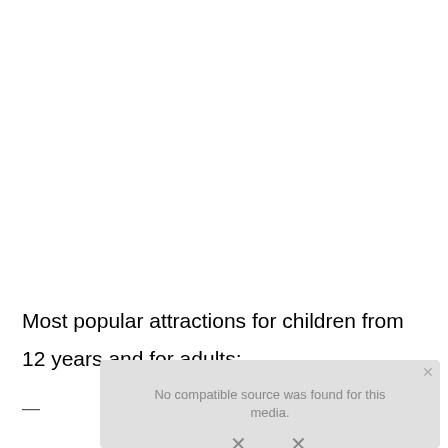Most popular attractions for children from 12 years and for adults:
[Figure (screenshot): A media player overlay showing 'No compatible source was found for this media.' with a close button (x) in the top right and an X dismiss button at the bottom center. The background shows a faint image of what appears to be a city/building scene.]